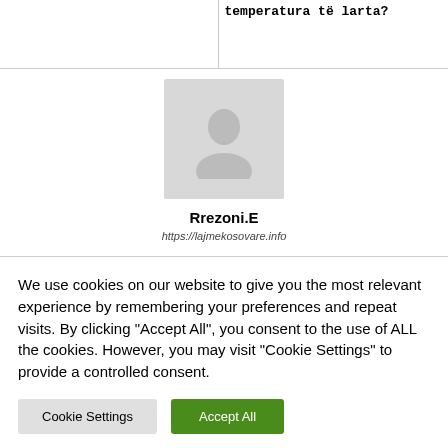temperatura të larta?
[Figure (illustration): Grey placeholder avatar image with a person silhouette icon]
Rrezoni.E
https://lajmekosovare.info
RELATED ARTICLES
MORE FROM AUTHOR
We use cookies on our website to give you the most relevant experience by remembering your preferences and repeat visits. By clicking "Accept All", you consent to the use of ALL the cookies. However, you may visit "Cookie Settings" to provide a controlled consent.
Cookie Settings
Accept All